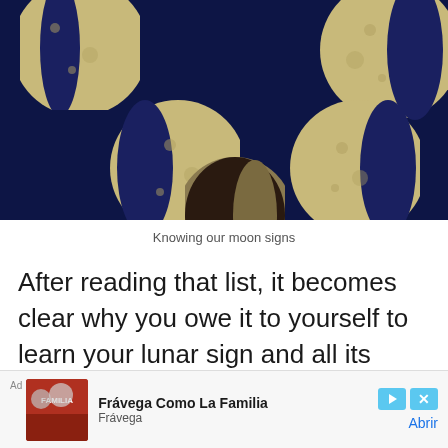[Figure (photo): Composite image of moon phases showing five crescent-to-gibbous moon positions arranged in an arc against a dark navy blue background]
Knowing our moon signs
After reading that list, it becomes clear why you owe it to yourself to learn your lunar sign and all its implications. Doing so can open up a whole
[Figure (other): Advertisement banner: 'Frávega Como La Familia' with Frávega branding, thumbnail image, play and close buttons, and 'Abrir' link]